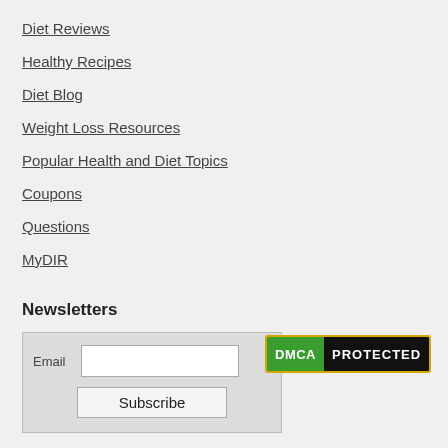Diet Reviews
Healthy Recipes
Diet Blog
Weight Loss Resources
Popular Health and Diet Topics
Coupons
Questions
MyDIR
Newsletters
[Figure (other): Newsletter email subscription form with Email label, text input field, and Subscribe button]
[Figure (other): DMCA Protected badge with green DMCA label and black PROTECTED label, yellow border]